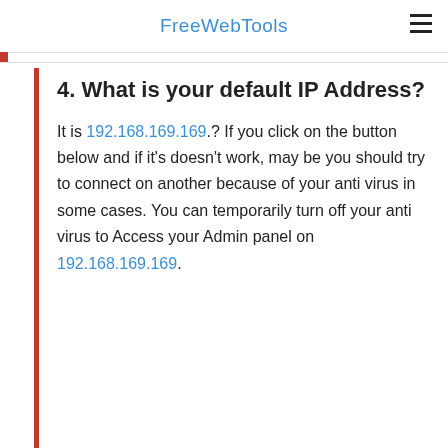FreeWebTools
4. What is your default IP Address?
It is 192.168.169.169.? If you click on the button below and if it's doesn't work, may be you should try to connect on another because of your anti virus in some cases. You can temporarily turn off your anti virus to Access your Admin panel on 192.168.169.169.